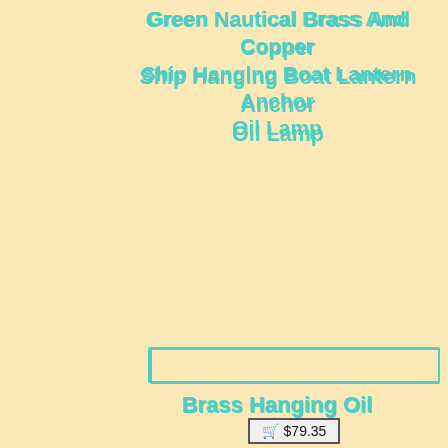Green Nautical Brass And Copper Ship Hanging Boat Lantern Anchor Oil Lamp
[Figure (other): Empty input/search box with teal border]
Brass Hanging Oil
🛒 $79.35
Brass Hanging Oil Wick Lamp Diya with 1 Meter Chain for Puja Worship Prayer 7quot;
[Figure (other): Empty input/search box with teal border]
19c Antique Handmade